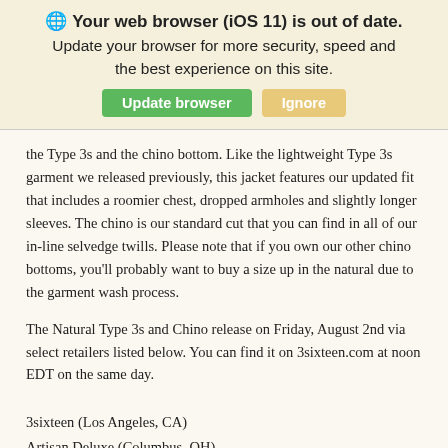🌐 Your web browser (iOS 11) is out of date. Update your browser for more security, speed and the best experience on this site.
the Type 3s and the chino bottom. Like the lightweight Type 3s garment we released previously, this jacket features our updated fit that includes a roomier chest, dropped armholes and slightly longer sleeves. The chino is our standard cut that you can find in all of our in-line selvedge twills. Please note that if you own our other chino bottoms, you'll probably want to buy a size up in the natural due to the garment wash process.
The Natural Type 3s and Chino release on Friday, August 2nd via select retailers listed below. You can find it on 3sixteen.com at noon EDT on the same day.
3sixteen (Los Angeles, CA)
Artisan Deluxe (Columbus, OH)
Blue Owl Workshop (Seattle, WA)
Cultizm (Münster, Germany)
Franklin & Poe (Philadelphia, PA)